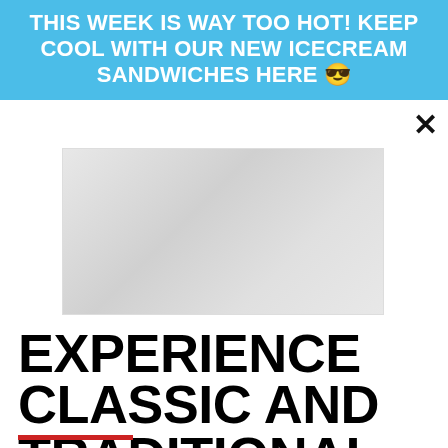THIS WEEK IS WAY TOO HOT! KEEP COOL WITH OUR NEW ICECREAM SANDWICHES HERE 😎
[Figure (photo): Faded/placeholder image area showing an indistinct background food or product image]
EXPERIENCE CLASSIC AND TRADITIONAL EDIBLES